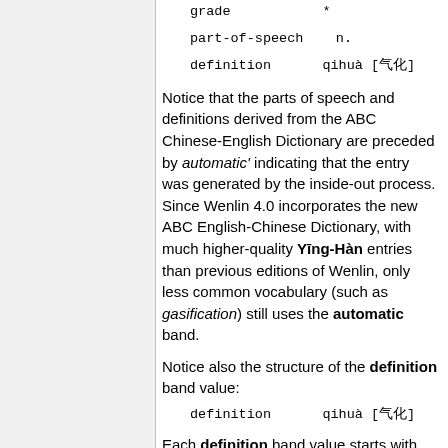grade    *
part-of-speech    n.
definition    qihuà [气化]
Notice that the parts of speech and definitions derived from the ABC Chinese-English Dictionary are preceded by automatic' indicating that the entry was generated by the inside-out process. Since Wenlin 4.0 incorporates the new ABC English-Chinese Dictionary, with much higher-quality Yīng-Hàn entries than previous editions of Wenlin, only less common vocabulary (such as gasification) still uses the automatic band.
Notice also the structure of the definition band value:
definition    qihuà [气化]
Each definition band value starts with